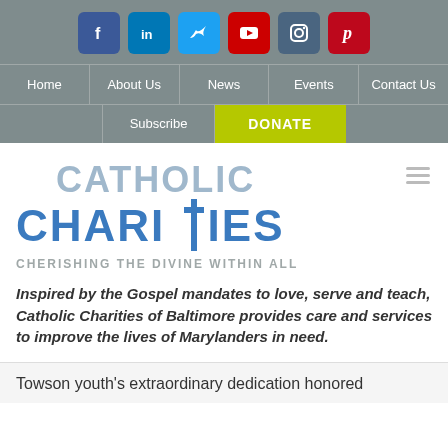[Figure (screenshot): Social media icon bar with Facebook, LinkedIn, Twitter, YouTube, Instagram, and Pinterest icons on gray background]
Home | About Us | News | Events | Contact Us | Subscribe | DONATE
[Figure (logo): Catholic Charities logo with blue text and cross in the T of CHARITIES]
CHERISHING THE DIVINE WITHIN ALL
Inspired by the Gospel mandates to love, serve and teach, Catholic Charities of Baltimore provides care and services to improve the lives of Marylanders in need.
Towson youth's extraordinary dedication honored